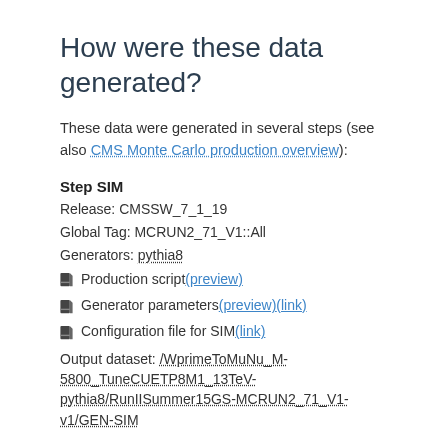How were these data generated?
These data were generated in several steps (see also CMS Monte Carlo production overview):
Step SIM
Release: CMSSW_7_1_19
Global Tag: MCRUN2_71_V1::All
Generators: pythia8
Production script (preview)
Generator parameters (preview) (link)
Configuration file for SIM (link)
Output dataset: /WprimeToMuNu_M-5800_TuneCUETP8M1_13TeV-pythia8/RunIISummer15GS-MCRUN2_71_V1-v1/GEN-SIM